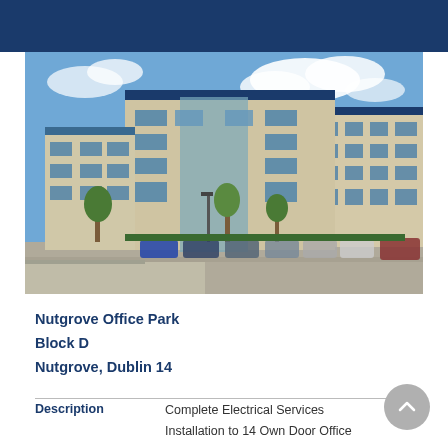[Figure (photo): Exterior photo of Nutgrove Office Park Block D — a modern multi-storey commercial office building with beige and blue cladding, large windows, parked cars in foreground, trees lining the driveway, blue sky with clouds.]
Nutgrove Office Park
Block D
Nutgrove, Dublin 14
Description   Complete Electrical Services Installation to 14 Own Door Office